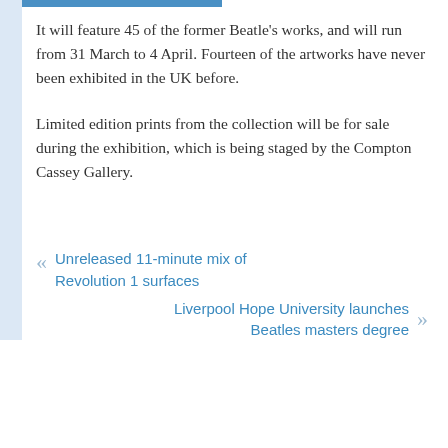It will feature 45 of the former Beatle's works, and will run from 31 March to 4 April. Fourteen of the artworks have never been exhibited in the UK before.
Limited edition prints from the collection will be for sale during the exhibition, which is being staged by the Compton Cassey Gallery.
« Unreleased 11-minute mix of Revolution 1 surfaces
Liverpool Hope University launches Beatles masters degree »